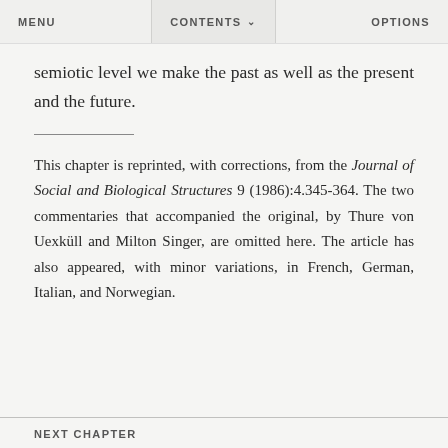MENU   CONTENTS   OPTIONS
semiotic level we make the past as well as the present and the future.
This chapter is reprinted, with corrections, from the Journal of Social and Biological Structures 9 (1986):4.345-364. The two commentaries that accompanied the original, by Thure von Uexküll and Milton Singer, are omitted here. The article has also appeared, with minor variations, in French, German, Italian, and Norwegian.
NEXT CHAPTER